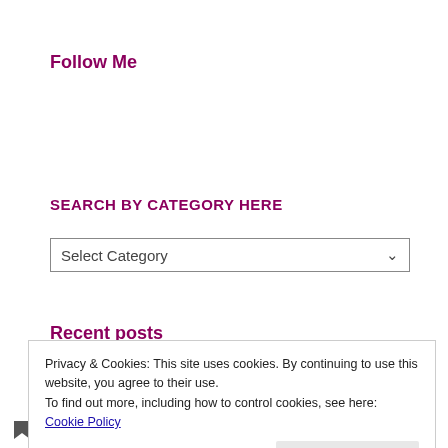Follow Me
SEARCH BY CATEGORY HERE
Select Category
Recent posts
Privacy & Cookies: This site uses cookies. By continuing to use this website, you agree to their use.
To find out more, including how to control cookies, see here: Cookie Policy
Close and accept
“Merry” Month of May Meme: the New Normal